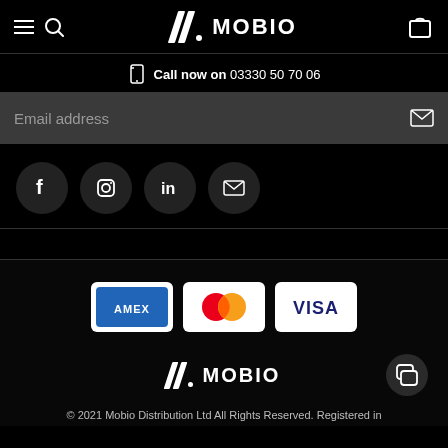MOBIO navigation bar with hamburger menu, search, logo, and cart
Call now on 03330 50 70 06
Email address
[Figure (other): Social media icons: Facebook, Instagram, LinkedIn, Email in dark circles]
[Figure (other): Payment method logos: AMEX, Mastercard, Visa]
[Figure (logo): Mobio logo (slashes + MOBIO text) in footer with chat icon]
© 2021 Mobio Distribution Ltd All Rights Reserved. Registered in